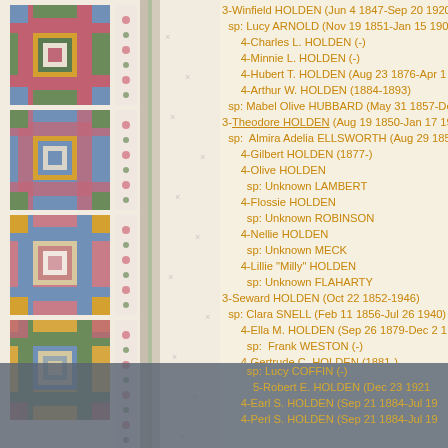[Figure (illustration): Decorative quilt panel on the left side of the page featuring log cabin quilt blocks in blue, green, gold, red/pink, and white patterned fabrics arranged vertically.]
3-Winfield HOLDEN (Jun 4 1847-Sep 20 1920)
  sp: Lucy ARNOLD (Nov 19 1851-Jan 15 1908
    4-Charles L. HOLDEN (-)
    4-Minnie L. HOLDEN (-)
    4-Hubert T. HOLDEN (Aug 23 1876-Apr 1
    4-Arthur W. HOLDEN (1884-1893)
  sp: Mabel Olive HUBBARD (May 31 1857-De
3-Theodore HOLDEN (Aug 19 1850-Jan 17 1930
  sp: Almira Adelia ELLSWORTH (Aug 29 185-
    4-Gilbert HOLDEN (1877-)
    4-Olive HOLDEN
      sp: Unknown LAMBERT
    4-Flossie HOLDEN
      sp: Unknown ROBINSON
    4-Nellie HOLDEN
      sp: Unknown MECK
    4-Lillie "Milly" HOLDEN
      sp: Unknown FLAHARTY
3-Seward HOLDEN (Oct 22 1852-1946)
  sp: Clara SNELL (Feb 11 1856-Jul 26 1940)
    4-Ella M. HOLDEN (Sep 26 1879-Dec 2 1
      sp: Frank WESTON (-)
    4-Gertrude C. HOLDEN (1881-)
      sp: William BARKER (-)
    4-Earl S. HOLDEN (Sep 21 1884-Jul 16 19
      sp: Lucy COFFIN (-)
        5-Robert E. HOLDEN (Dec 23 1921
    4-Earl S. HOLDEN (Sep 21 1884-Jul 19